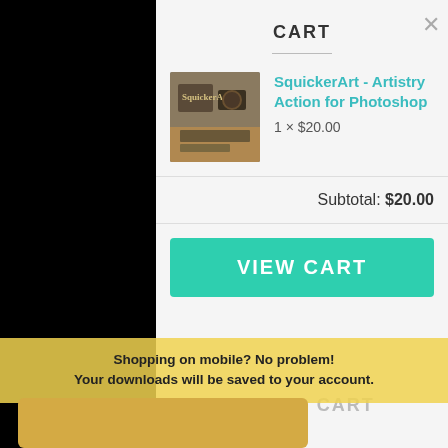CART
SquickerArt - Artistry Action for Photoshop
1 × $20.00
Subtotal: $20.00
VIEW CART
Shopping on mobile? No problem! Your downloads will be saved to your account.
ADD TO CART